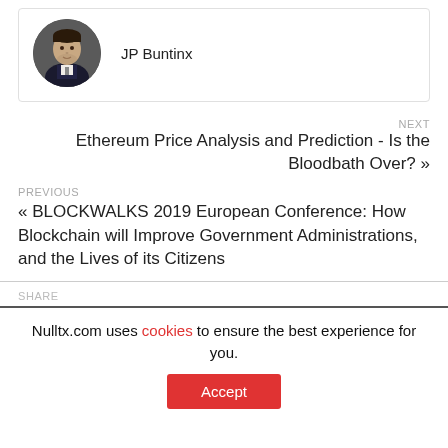[Figure (photo): Circular profile photo of JP Buntinx, a man in a dark jacket]
JP Buntinx
NEXT
Ethereum Price Analysis and Prediction - Is the Bloodbath Over? »
PREVIOUS
« BLOCKWALKS 2019 European Conference: How Blockchain will Improve Government Administrations, and the Lives of its Citizens
SHARE
Nulltx.com uses cookies to ensure the best experience for you.
Accept